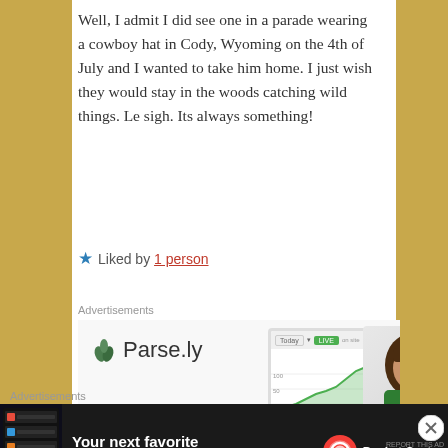Well, I admit I did see one in a parade wearing a cowboy hat in Cody, Wyoming on the 4th of July and I wanted to take him home. I just wish they would stay in the woods catching wild things. Le sigh. Its always something!
★ Liked by 1 person
Advertisements
[Figure (screenshot): Parse.ly advertisement showing logo with green leaf icon and dashboard screenshot with a woman smiling]
Advertisements
[Figure (screenshot): Pocket Casts advertisement: 'Your next favorite podcast is here.' with app screenshot and Pocket Casts logo on dark background]